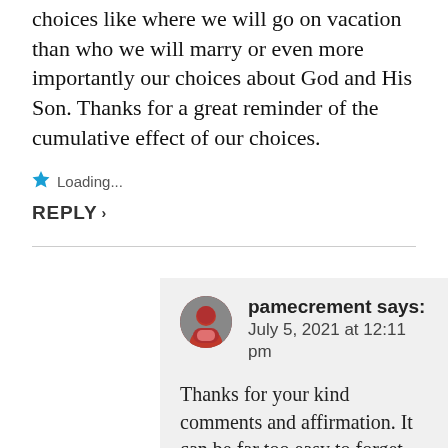choices like where we will go on vacation than who we will marry or even more importantly our choices about God and His Son. Thanks for a great reminder of the cumulative effect of our choices.
Loading...
REPLY
pamecrement says: July 5, 2021 at 12:11 pm
Thanks for your kind comments and affirmation. It can be far too easy to forget that our choices have more to